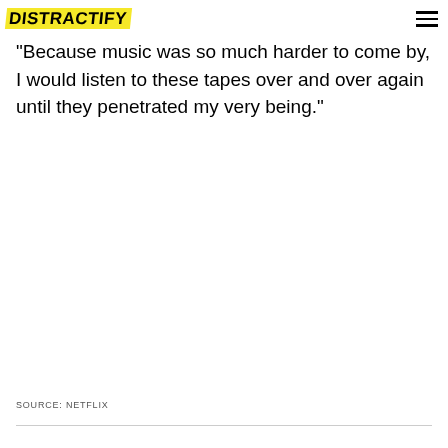DISTRACTIFY
"Because music was so much harder to come by, I would listen to these tapes over and over again until they penetrated my very being."
SOURCE: NETFLIX